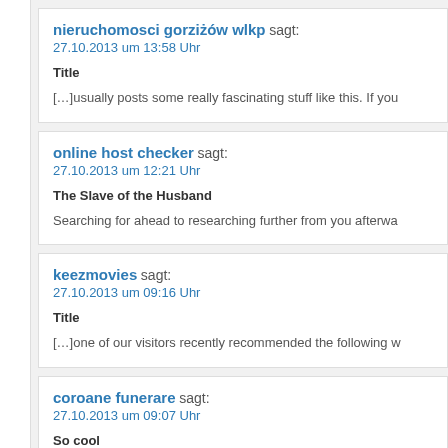nieruchomosci gorzi¿½w wlkp sagt:
27.10.2013 um 13:58 Uhr
Title
[…]usually posts some really fascinating stuff like this. If you
online host checker sagt:
27.10.2013 um 12:21 Uhr
The Slave of the Husband
Searching for ahead to researching further from you afterwa
keezmovies sagt:
27.10.2013 um 09:16 Uhr
Title
[…]one of our visitors recently recommended the following w
coroane funerare sagt:
27.10.2013 um 09:07 Uhr
So cool
The information provided in the article are some of the b